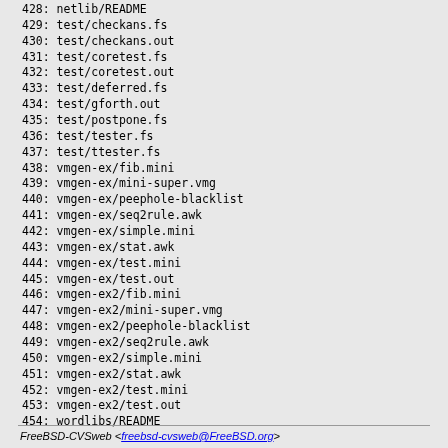428:  netlib/README
429:  test/checkans.fs
430:  test/checkans.out
431:  test/coretest.fs
432:  test/coretest.out
433:  test/deferred.fs
434:  test/gforth.out
435:  test/postpone.fs
436:  test/tester.fs
437:  test/ttester.fs
438:  vmgen-ex/fib.mini
439:  vmgen-ex/mini-super.vmg
440:  vmgen-ex/peephole-blacklist
441:  vmgen-ex/seq2rule.awk
442:  vmgen-ex/simple.mini
443:  vmgen-ex/stat.awk
444:  vmgen-ex/test.mini
445:  vmgen-ex/test.out
446:  vmgen-ex2/fib.mini
447:  vmgen-ex2/mini-super.vmg
448:  vmgen-ex2/peephole-blacklist
449:  vmgen-ex2/seq2rule.awk
450:  vmgen-ex2/simple.mini
451:  vmgen-ex2/stat.awk
452:  vmgen-ex2/test.mini
453:  vmgen-ex2/test.out
454:  wordlibs/README
FreeBSD-CVSweb <freebsd-cvsweb@FreeBSD.org>